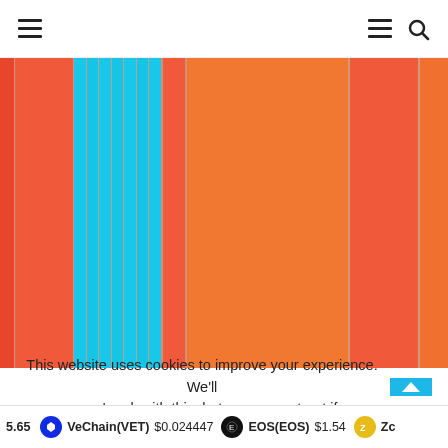Navigation header with hamburger menu and search icon
[Figure (other): Stacked vertical bar chart showing cryptocurrency market data with red/coral and cyan/blue colored vertical bands]
This website uses cookies to improve your experience. We'll assume you're ok with this, but you can opt-out if you w
5.65 VeChain(VET) $0.024447 EOS(EOS) $1.54 Zc